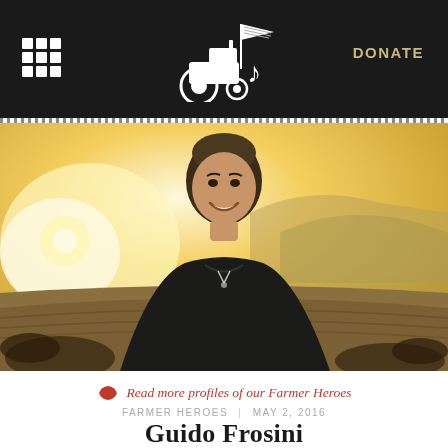DONATE
[Figure (photo): Young smiling man in a black t-shirt standing outdoors in a farm field at golden hour/sunset, with mountains and farm fields in the background. Cattle visible at lower edges of the frame.]
Read more profiles of our Farmer Heroes
FARMER HEROES | MAY 2, 2016
Guido Frosini
by JESSICA KURN